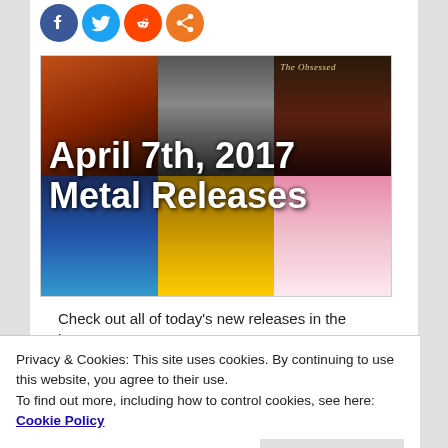[Figure (other): Social media sharing icons: Facebook (blue), Twitter (light blue), Reddit (orange), Share (orange)]
[Figure (illustration): Collage of 6 metal album covers arranged in a 3x2 grid with overlay text reading 'April 7th, 2017 Metal Releases']
Check out all of today's new releases in the heavy
Privacy & Cookies: This site uses cookies. By continuing to use this website, you agree to their use.
To find out more, including how to control cookies, see here: Cookie Policy
Close and accept
Azarath, CD's, Date, Deez Nuts, Ecstatic Vision, Heavy